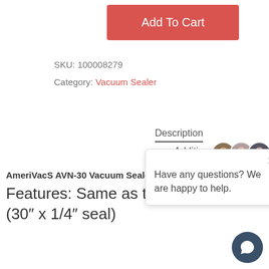[Figure (screenshot): Red 'Add To Cart' button]
SKU: 100008279
Category: Vacuum Sealer
Description
Additio
[Figure (screenshot): Chat popup with avatars: Have any questions? We are happy to help.]
AmeriVacS AVN-30 Vacuum Sealer
Features: Same as the AVN-20, (30" x 1/4" seal)